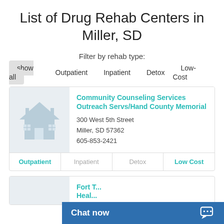List of Drug Rehab Centers in Miller, SD
Filter by rehab type:
show all
Outpatient
Inpatient
Detox
Low-Cost
Community Counseling Services Outreach Servs/Hand County Memorial
300 West 5th Street
Miller, SD 57362
605-853-2421
Outpatient | Inpatient | Detox | Low Cost
Fort T... Heal...
Chat now